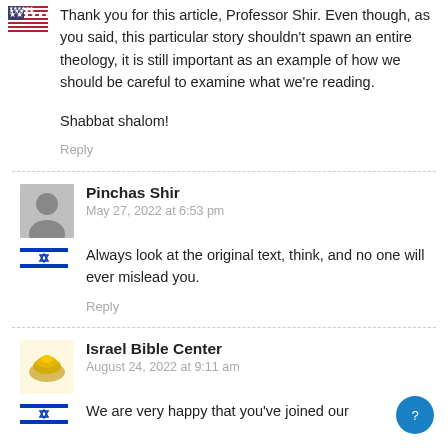Thank you for this article, Professor Shir. Even though, as you said, this particular story shouldn't spawn an entire theology, it is still important as an example of how we should be careful to examine what we're reading.
Shabbat shalom!
Reply
Pinchas Shir
May 27, 2022 at 6:53 pm
Always look at the original text, think, and no one will ever mislead you.
Reply
Israel Bible Center
August 24, 2022 at 9:11 am
We are very happy that you've joined our